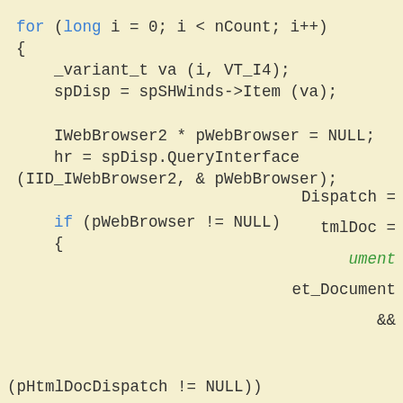[Figure (screenshot): Code snippet showing a C++ for loop iterating over SHWindows, querying IWebBrowser2 interface, with a cookie consent overlay partially covering the lower half.]
Like every other website we use cookies. By using our site you acknowledge that you have read and understand our Cookie Policy, Privacy Policy, and our Terms of Service. Learn more
Ask me later | Decline | Allow cookies